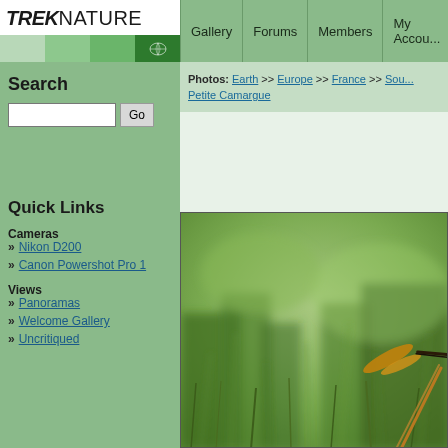TREKNATURE - Gallery | Forums | Members | My Account
Photos: Earth >> Europe >> France >> Sou... Petite Camargue
Search
Quick Links
Cameras
Nikon D200
Canon Powershot Pro 1
Views
Panoramas
Welcome Gallery
Uncritiqued
[Figure (photo): Close-up macro photo of a dragonfly or insect on grass stems, with blurred green background. Orange/yellow colored insect wings visible on right side.]